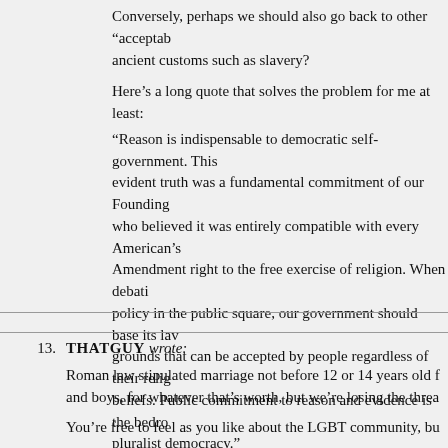Conversely, perhaps we should also go back to other "acceptable" ancient customs such as slavery?
Here's a long quote that solves the problem for me at least: "Reason is indispensable to democratic self-government. This evident truth was a fundamental commitment of our Founding who believed it was entirely compatible with every American's Amendment right to the free exercise of religion. When debating policy in the public square, our government should base its law grounds that can be accepted by people regardless of their religion beliefs. Public commitment to reason and evidence is the bedrock pluralist democracy."
— Bruce Ackerman and Todd Gitlin
Tuesday, October 17, 2017 at 1:02 pm | Permalink
13. THATGUY wrote:
Roman law stipulated marriage not before 12 or 14 years old for and boys, for whatever that's worth, but we're losing the thread
You're free to feel as you like about the LGBT community, but